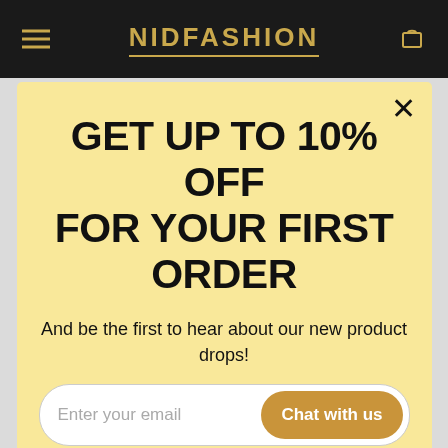NIDFASHION
GET UP TO 10% OFF FOR YOUR FIRST ORDER
And be the first to hear about our new product drops!
Enter your email
Chat with us